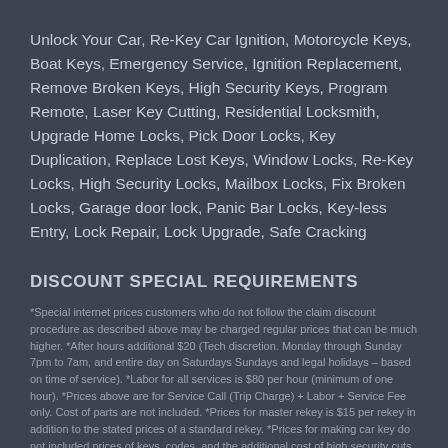Unlock Your Car, Re-Key Car Ignition, Motorcycle Keys, Boat Keys, Emergency Service, Ignition Replacement, Remove Broken Keys, High Security Keys, Program Remote, Laser Key Cutting, Residential Locksmith, Upgrade Home Locks, Pick Door Locks, Key Duplication, Replace Lost Keys, Window Locks, Re-Key Locks, High Security Locks, Mailbox Locks, Fix Broken Locks, Garage door lock, Panic Bar Locks, Key-less Entry, Lock Repair, Lock Upgrade, Safe Cracking
DISCOUNT SPECIAL REQUIREMENTS
*Special internet prices customers who do not follow the claim discount procedure as described above may be charged regular prices that can be much higher. *After hours additional $20 (Tech discretion. Monday through Sunday 7pm to 7am, and entire day on Saturdays Sundays and legal holidays – based on time of service). *Labor for all services is $80 per hour (minimum of one hour). *Prices above are for Service Call (Trip Charge) + Labor + Service Fee only. Cost of parts are not included. *Prices for master rekey is $15 per rekey in addition to the stated prices of a standard rekey. *Prices for making car key do not included prices of keys, codes, and the additional cost of high security cuts. *Rekey of high security locks (such as Best and Mul-t-lock) require additional fee for service. *Jobs are performed by Independent Contractors. who agreed not to charge prices greater than the prices described above. The Independent Contractors, at their discretion, may give